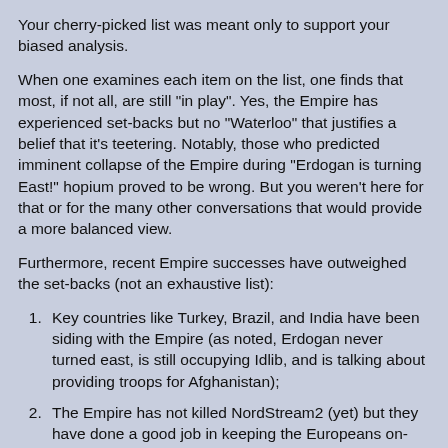Your cherry-picked list was meant only to support your biased analysis.
When one examines each item on the list, one finds that most, if not all, are still "in play". Yes, the Empire has experienced set-backs but no "Waterloo" that justifies a belief that it's teetering. Notably, those who predicted imminent collapse of the Empire during "Erdogan is turning East!" hopium proved to be wrong. But you weren't here for that or for the many other conversations that would provide a more balanced view.
Furthermore, recent Empire successes have outweighed the set-backs (not an exhaustive list):
Key countries like Turkey, Brazil, and India have been siding with the Empire (as noted, Erdogan never turned east, is still occupying Idlib, and is talking about providing troops for Afghanistan);
The Empire has not killed NordStream2 (yet) but they have done a good job in keeping the Europeans on-side. Europeans now pay more into NATO than ever;
The Empire is still in Syria, Iraq, and the withdraw from Afghanistan is questionable (US troops and contractors will remain and NATO Turkey seems likely to increase their participation just as they are in Iraq);